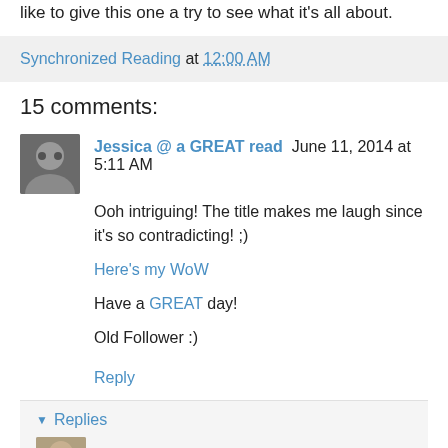like to give this one a try to see what it's all about.
Synchronized Reading at 12:00 AM
15 comments:
Jessica @ a GREAT read  June 11, 2014 at 5:11 AM
Ooh intriguing! The title makes me laugh since it's so contradicting! ;)
Here's my WoW
Have a GREAT day!
Old Follower :)
Reply
▼ Replies
Synchronized Reading